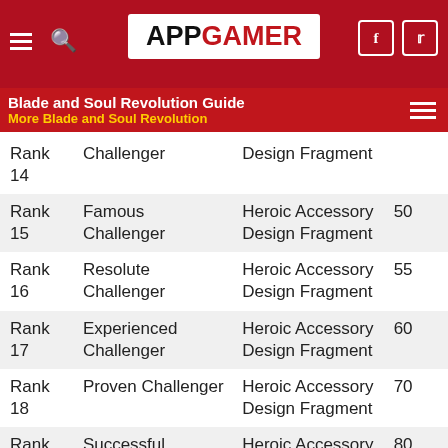APPGAMER
Blade and Soul Revolution Guide
More Blade and Soul Revolution
| Rank | Title | Reward | Amount |
| --- | --- | --- | --- |
| Rank 14 | Challenger | Design Fragment |  |
| Rank 15 | Famous Challenger | Heroic Accessory Design Fragment | 50 |
| Rank 16 | Resolute Challenger | Heroic Accessory Design Fragment | 55 |
| Rank 17 | Experienced Challenger | Heroic Accessory Design Fragment | 60 |
| Rank 18 | Proven Challenger | Heroic Accessory Design Fragment | 70 |
| Rank 19 | Successful Challenger | Heroic Accessory Design Fragment | 80 |
| Rank 20 | Heroic Challenger | Heroic Accessory | 100 |